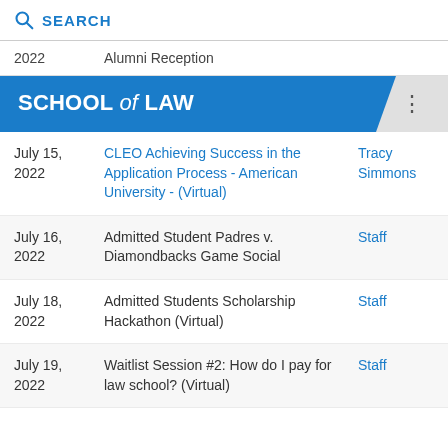SEARCH
| Date | Event | Person |
| --- | --- | --- |
| 2022 | Alumni Reception |  |
| July 15, 2022 | CLEO Achieving Success in the Application Process - American University - (Virtual) | Tracy Simmons |
| July 16, 2022 | Admitted Student Padres v. Diamondbacks Game Social | Staff |
| July 18, 2022 | Admitted Students Scholarship Hackathon (Virtual) | Staff |
| July 19, 2022 | Waitlist Session #2: How do I pay for law school? (Virtual) | Staff |